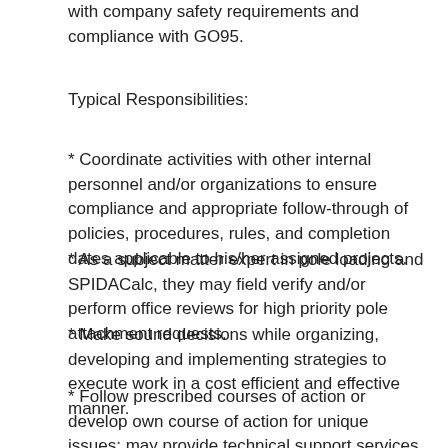with company safety requirements and compliance with GO95.
Typical Responsibilities:
* Coordinate activities with other internal personnel and/or organizations to ensure compliance and appropriate follow-through of policies, procedures, rules, and completion dates applicable to his/her assigned projects.
* As a subject matter expert in pole loading and SPIDACalc, they may field verify and/or perform office reviews for high priority pole attachment requests.
* Make sound decisions while organizing, developing and implementing strategies to execute work in a cost efficient and effective manner.
* Follow prescribed courses of action or develop own course of action for unique issues; may provide technical support services to internal and external customers.
* Having the technical skills to identify and be comfortable with reporting errors if found.
* Ability to recognize and report (using CSS) emergent field conditions.
* Acquisition and maintenance of abilities and behaviors